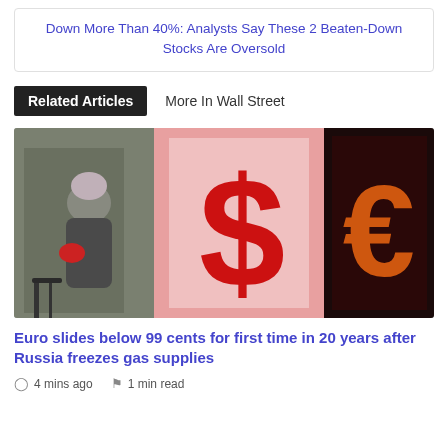Down More Than 40%: Analysts Say These 2 Beaten-Down Stocks Are Oversold
Related Articles   More In Wall Street
[Figure (photo): A person in winter coat and hat walking by a currency exchange sign showing a large red dollar sign and a red LED euro sign on a building facade.]
Euro slides below 99 cents for first time in 20 years after Russia freezes gas supplies
4 mins ago   1 min read